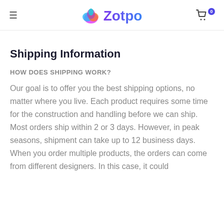≡  Zotpo  🛒0
Shipping Information
HOW DOES SHIPPING WORK?
Our goal is to offer you the best shipping options, no matter where you live. Each product requires some time for the construction and handling before we can ship. Most orders ship within 2 or 3 days. However, in peak seasons, shipment can take up to 12 business days. When you order multiple products, the orders can come from different designers. In this case, it could